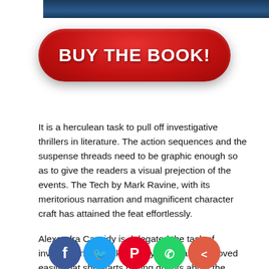[Figure (photo): Top portion of a book cover image with dark blue background]
[Figure (illustration): Red pill-shaped button with white bold text reading BUY THE BOOK!]
It is a herculean task to pull off investigative thrillers in literature. The action sequences and the suspense threads need to be graphic enough so as to give the readers a visual prejection of the events. The Tech by Mark Ravine, with its meritorious narration and magnificent character craft has attained the feat effortlessly.
Alexandra Cassidy is delegated the task of investigating a bank robbery. The case is proved easily that she starts having doubts about the finance of the job, one of things
[Figure (illustration): Row of social sharing icons: Facebook, Twitter, Pinterest, WhatsApp, Share]